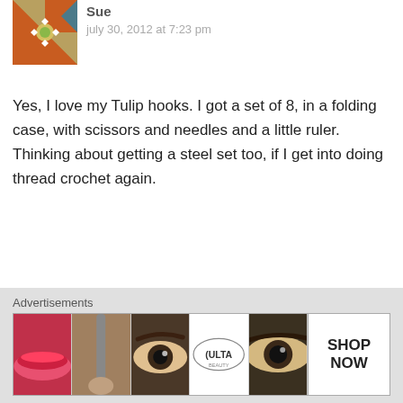[Figure (photo): Decorative avatar with geometric/mosaic pattern in orange, teal, and brown]
Sue
july 30, 2012 at 7:23 pm
Yes, I love my Tulip hooks. I got a set of 8, in a folding case, with scissors and needles and a little ruler. Thinking about getting a steel set too, if I get into doing thread crochet again.
★ Like
Reply
[Figure (photo): Avatar photo of a white daisy flower with yellow center on dark background]
fleurbelge
july 30, 2012 at 7:27 pm
Advertisements
[Figure (photo): Advertisement banner showing beauty/makeup products including lips, brush, eye, Ulta logo, eye closeup, and SHOP NOW text]